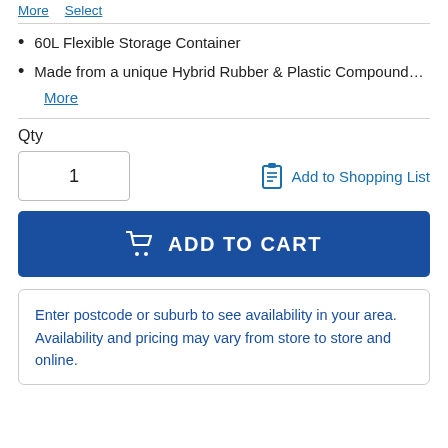More   Select
60L Flexible Storage Container
Made from a unique Hybrid Rubber & Plastic Compound…
More
Qty
1
Add to Shopping List
ADD TO CART
Enter postcode or suburb to see availability in your area. Availability and pricing may vary from store to store and online.